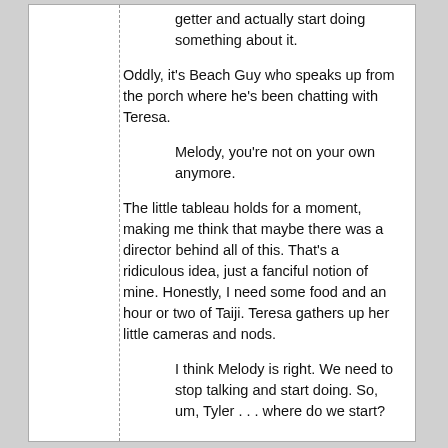getter and actually start doing something about it.
Oddly, it's Beach Guy who speaks up from the porch where he's been chatting with Teresa.
Melody, you're not on your own anymore.
The little tableau holds for a moment, making me think that maybe there was a director behind all of this. That's a ridiculous idea, just a fanciful notion of mine. Honestly, I need some food and an hour or two of Taiji. Teresa gathers up her little cameras and nods.
I think Melody is right. We need to stop talking and start doing. So, um, Tyler . . . where do we start?